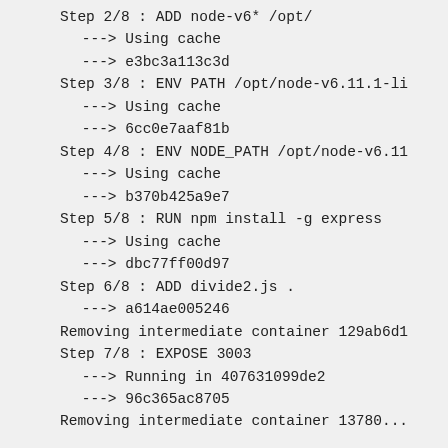Step 2/8 : ADD node-v6* /opt/
 ---> Using cache
 ---> e3bc3a113c3d
Step 3/8 : ENV PATH /opt/node-v6.11.1-li
 ---> Using cache
 ---> 6cc0e7aaf81b
Step 4/8 : ENV NODE_PATH /opt/node-v6.11
 ---> Using cache
 ---> b370b425a9e7
Step 5/8 : RUN npm install -g express
 ---> Using cache
 ---> dbc77ff00d97
Step 6/8 : ADD divide2.js .
 ---> a614ae005246
Removing intermediate container 129ab6d1
Step 7/8 : EXPOSE 3003
 ---> Running in 407631099de2
 ---> 96c365ac8705
Removing intermediate container 13780...